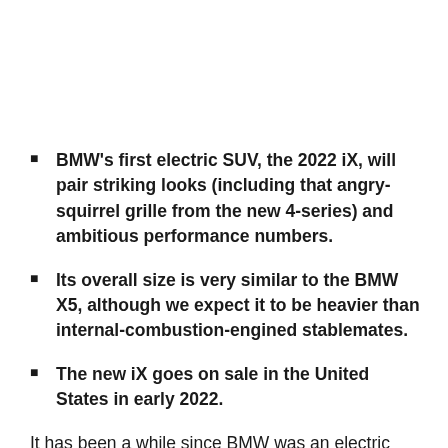BMW's first electric SUV, the 2022 iX, will pair striking looks (including that angry-squirrel grille from the new 4-series) and ambitious performance numbers.
Its overall size is very similar to the BMW X5, although we expect it to be heavier than internal-combustion-engined stablemates.
The new iX goes on sale in the United States in early 2022.
It has been a while since BMW was an electric pioneer. The launch of the carbon-bodied i3 in 2013 was so far ahead of the curve, it was practically in another race. But in more recent years BMW pretty much stepped out of the competition,